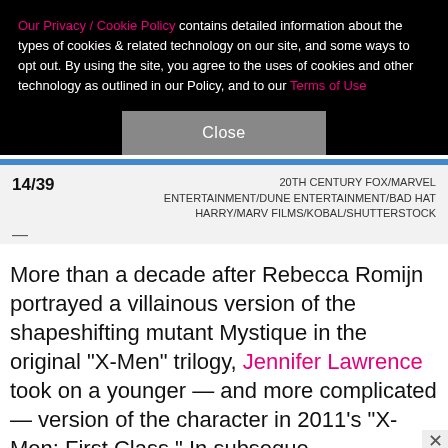Our Privacy / Cookie Policy contains detailed information about the types of cookies & related technology on our site, and some ways to opt out. By using the site, you agree to the uses of cookies and other technology as outlined in our Policy, and to our Terms of Use
Close
14/39
20TH CENTURY FOX/MARVEL ENTERTAINMENT/DUNE ENTERTAINMENT/BAD HAT HARRY/MARV FILMS/KOBAL/SHUTTERSTOCK
—
More than a decade after Rebecca Romijn portrayed a villainous version of the shapeshifting mutant Mystique in the original "X-Men" trilogy, Jennifer Lawrence took on a younger — and more complicated — version of the character in 2011's "X-Men: First Class." In subseque
[Figure (screenshot): Advertisement banner for SHE PARTNER NETWORK with photo of woman, bullet points about earning site & social revenue, traffic growth, speaking on stages, SHE logo, and LEARN MORE button]